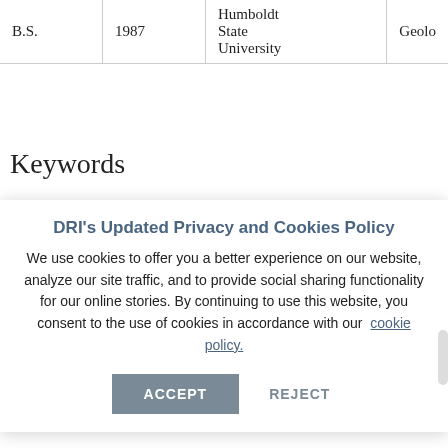|  |  | Humboldt State University | Geolo |
| --- | --- | --- | --- |
| B.S. | 1987 | Humboldt State University | Geolo |
Keywords
DRI's Updated Privacy and Cookies Policy
We use cookies to offer you a better experience on our website, analyze our site traffic, and to provide social sharing functionality for our online stories. By continuing to use this website, you consent to the use of cookies in accordance with our cookie policy.
ACCEPT   REJECT